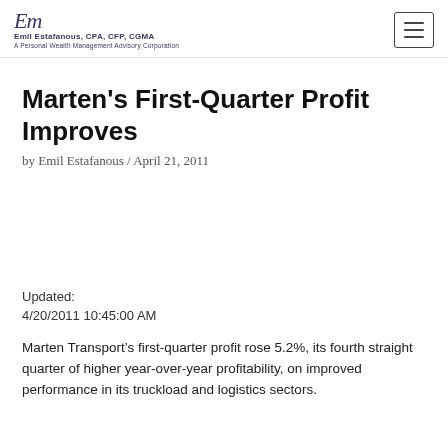Emil Estafanous, CPA, CFP, CGMA / A Personal Wealth Management Advisory Corporation
Marten's First-Quarter Profit Improves
by Emil Estafanous / April 21, 2011
Updated:
4/20/2011 10:45:00 AM
Marten Transport’s first-quarter profit rose 5.2%, its fourth straight quarter of higher year-over-year profitability, on improved performance in its truckload and logistics sectors.